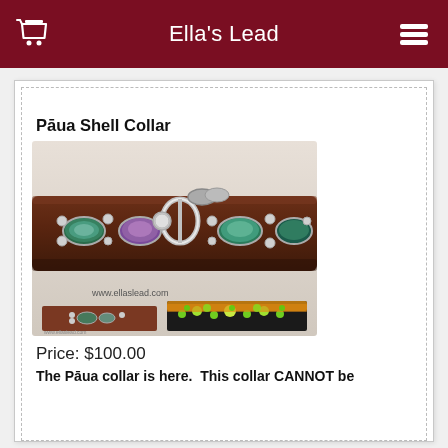Ella's Lead
Pāua Shell Collar
[Figure (photo): Brown leather dog collar with pāua (abalone) shell oval insets and silver studs, with a D-ring buckle. Website www.ellaslead.com visible at bottom of main image. Two smaller thumbnail images below: one showing the collar from a different angle, one showing multiple studded collars in black and orange with green gems.]
Price: $100.00
The Pāua collar is here.  This collar CANNOT be